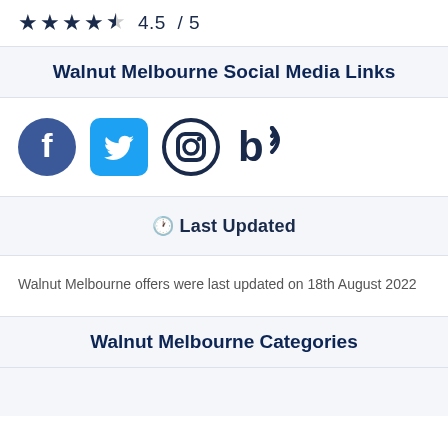4.5 / 5
Walnut Melbourne Social Media Links
[Figure (illustration): Social media icons: Facebook (dark blue circle with f), Twitter (light blue rounded square with bird), Instagram (dark circle outline with camera), and a blog/RSS icon (dark b with signal arcs)]
🕐 Last Updated
Walnut Melbourne offers were last updated on 18th August 2022
Walnut Melbourne Categories